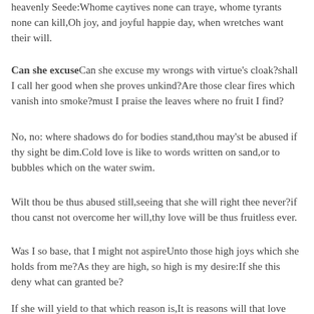heavenly Seede:Whome caytives none can traye, whome tyrants none can kill,Oh joy, and joyful happie day, when wretches want their will.
Can she excuseCan she excuse my wrongs with virtue's cloak?shall I call her good when she proves unkind?Are those clear fires which vanish into smoke?must I praise the leaves where no fruit I find?
No, no: where shadows do for bodies stand,thou may'st be abused if thy sight be dim.Cold love is like to words written on sand,or to bubbles which on the water swim.
Wilt thou be thus abused still,seeing that she will right thee never?if thou canst not overcome her will,thy love will be thus fruitless ever.
Was I so base, that I might not aspireUnto those high joys which she holds from me?As they are high, so high is my desire:If she this deny what can granted be?
If she will yield to that which reason is,It is reasons will that love should be